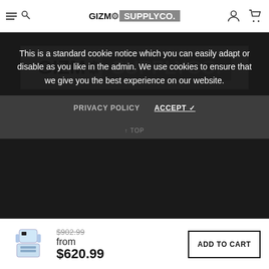GIZMO SUPPLYCO. navigation bar with hamburger/search icon, user icon, and cart icon
[Figure (logo): Gizmo Supply Co. logo in dark background section]
Copyright © 2022, Gizmo Supply Co. | (888) 386-0127 | All Rights Reserved.
[Figure (illustration): Facebook and YouTube social media icons]
This is a standard cookie notice which you can easily adapt or disable as you like in the admin. We use cookies to ensure that we give you the best experience on our website.
PRIVACY POLICY   ACCEPT ✓
[Figure (photo): Product image of a robot/device]
$902.99
from
$620.99
ADD TO CART